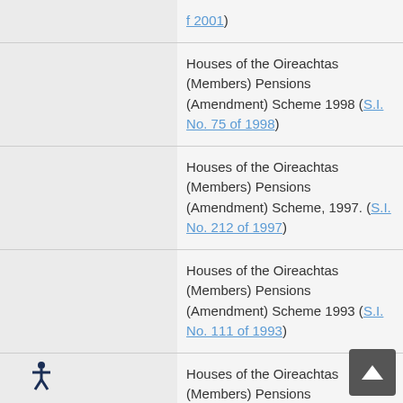f 2001)
Houses of the Oireachtas (Members) Pensions (Amendment) Scheme 1998 (S.I. No. 75 of 1998)
Houses of the Oireachtas (Members) Pensions (Amendment) Scheme, 1997. (S.I. No. 212 of 1997)
Houses of the Oireachtas (Members) Pensions (Amendment) Scheme 1993 (S.I. No. 111 of 1993)
Houses of the Oireachtas (Members) Pensions (Amendment) (No. 2) Scheme 1992 (S.I. No. 354 of 1992)
Houses of the Oireachtas (Me